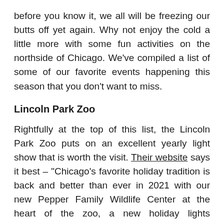before you know it, we all will be freezing our butts off yet again. Why not enjoy the cold a little more with some fun activities on the northside of Chicago. We've compiled a list of some of our favorite events happening this season that you don't want to miss.
Lincoln Park Zoo
Rightfully at the top of this list, the Lincoln Park Zoo puts on an excellent yearly light show that is worth the visit. Their website says it best – "Chicago's favorite holiday tradition is back and better than ever in 2021 with our new Pepper Family Wildlife Center at the heart of the zoo, a new holiday lights experience on our Main Mall, and an exciting new light show on our South Lawn. Also new this year: sensory-friendly visit times and an impressive 18-foot holiday tree sure to inspire festive oohs and aahs." Running from